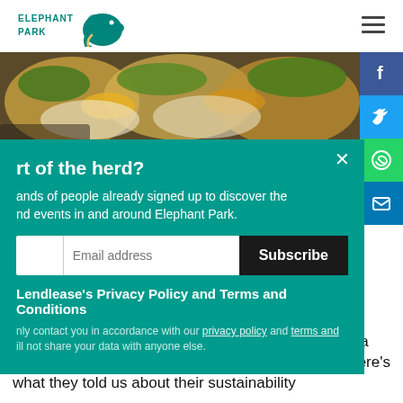[Figure (logo): Elephant Park logo with teal elephant silhouette and text ELEPHANT PARK]
[Figure (photo): Close-up photo of Mexican food tacos with colorful toppings including greens and cheese]
rt of the herd?
ands of people already signed up to discover the nd events in and around Elephant Park.
Lendlease's Privacy Policy and Terms and Conditions
nly contact you in accordance with our privacy policy and terms and ill not share your data with anyone else.
We caught up with the founders of Cheeky Chicos, a new Mexican-fusion restaurant at Elephant Park. Here's what they told us about their sustainability